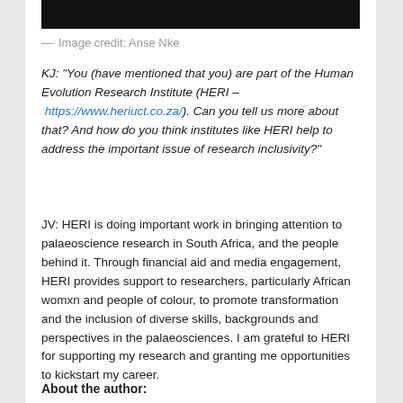[Figure (photo): Dark/black image at top of page, partially cropped]
— Image credit: Anse Nke
KJ: “You (have mentioned that you) are part of the Human Evolution Research Institute (HERI – https://www.heriuct.co.za/). Can you tell us more about that? And how do you think institutes like HERI help to address the important issue of research inclusivity?”
JV: HERI is doing important work in bringing attention to palaeoscience research in South Africa, and the people behind it. Through financial aid and media engagement, HERI provides support to researchers, particularly African womxn and people of colour, to promote transformation and the inclusion of diverse skills, backgrounds and perspectives in the palaeosciences. I am grateful to HERI for supporting my research and granting me opportunities to kickstart my career.
About the author: